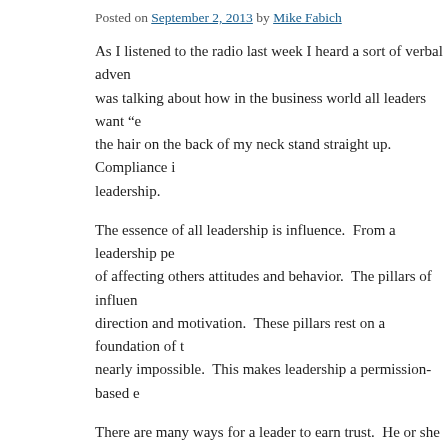Posted on September 2, 2013 by Mike Fabich
As I listened to the radio last week I heard a sort of verbal adven... was talking about how in the business world all leaders want “e... the hair on the back of my neck stand straight up.  Compliance i... leadership.
The essence of all leadership is influence.  From a leadership pe... of affecting others attitudes and behavior.  The pillars of influen... direction and motivation.  These pillars rest on a foundation of t... nearly impossible.  This makes leadership a permission-based e...
There are many ways for a leader to earn trust.  He or she may b... possess certain specialized skills or knowledge.  The surest form... is relational trust.  In other words, the trust that is built over time... relationship is the most solid of leadership foundations.  All real... context of this relationship.  Again, this is permission-based.
In the absence of that permission, individuals need to resort to th... ...relationship. The result of this...